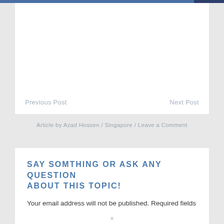Previous Post
Next Post
Article by Azad Hossen / Singapore / Leave a Comment
SAY SOMTHING OR ASK ANY QUESTION ABOUT THIS TOPIC!
Your email address will not be published. Required fields